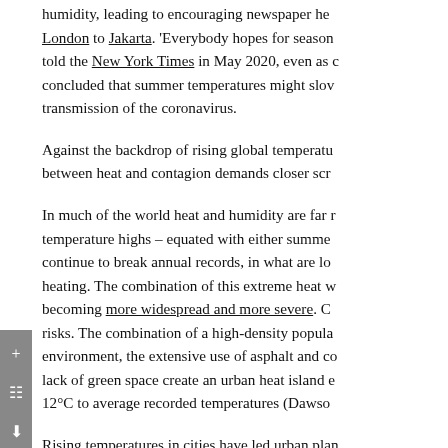humidity, leading to encouraging newspaper headlines from London to Jakarta. 'Everybody hopes for season told the New York Times in May 2020, even as c concluded that summer temperatures might slow transmission of the coronavirus.
Against the backdrop of rising global temperatures, the relationship between heat and contagion demands closer scrutiny.
In much of the world heat and humidity are far more than temperature highs – equated with either summer, continue to break annual records, in what are lo heating. The combination of this extreme heat w becoming more widespread and more severe. C risks. The combination of a high-density popula environment, the extensive use of asphalt and co lack of green space create an urban heat island e 12°C to average recorded temperatures (Dawson
Rising temperatures in cities have led urban pla